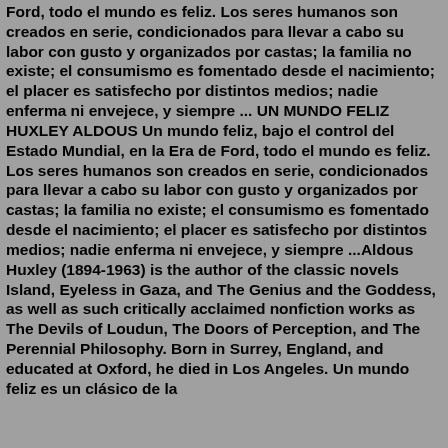Ford, todo el mundo es feliz. Los seres humanos son creados en serie, condicionados para llevar a cabo su labor con gusto y organizados por castas; la familia no existe; el consumismo es fomentado desde el nacimiento; el placer es satisfecho por distintos medios; nadie enferma ni envejece, y siempre ... UN MUNDO FELIZ HUXLEY ALDOUS Un mundo feliz, bajo el control del Estado Mundial, en la Era de Ford, todo el mundo es feliz. Los seres humanos son creados en serie, condicionados para llevar a cabo su labor con gusto y organizados por castas; la familia no existe; el consumismo es fomentado desde el nacimiento; el placer es satisfecho por distintos medios; nadie enferma ni envejece, y siempre ...Aldous Huxley (1894-1963) is the author of the classic novels Island, Eyeless in Gaza, and The Genius and the Goddess, as well as such critically acclaimed nonfiction works as The Devils of Loudun, The Doors of Perception, and The Perennial Philosophy. Born in Surrey, England, and educated at Oxford, he died in Los Angeles. Un mundo feliz es un clásico de la